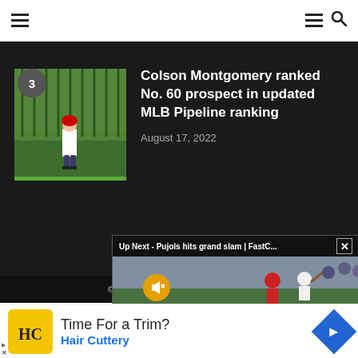≡  ≡ 🔍
[Figure (photo): Baseball player standing in front of a corn field on a baseball diamond, wearing a white uniform. Number 3 badge overlay in top-left corner.]
Colson Montgomery ranked No. 60 prospect in updated MLB Pipeline ranking
August 17, 2022
© Sox On 35th - All Rights Reserved
[Figure (screenshot): Video player overlay: 'Up Next - Pujols hits grand slam | FastC...' with a close X button. Below is a video thumbnail showing baseball players, with an ad label 'Ad 1 of 1 (0:30)' and a muted/speaker icon button.]
[Figure (other): Advertisement: Hair Cuttery ad with yellow HC logo, text 'Time For a Trim?' and 'Hair Cuttery' in blue, and a blue diamond arrow icon on the right.]